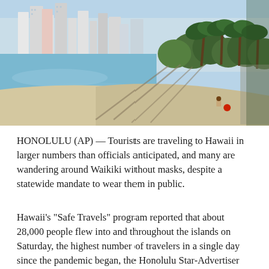[Figure (photo): Nearly empty Waikiki beach with palm tree shadows on sand, a lone person sitting in a chair, calm blue water, and Honolulu city skyline with high-rise buildings and hotels in the background.]
HONOLULU (AP) — Tourists are traveling to Hawaii in larger numbers than officials anticipated, and many are wandering around Waikiki without masks, despite a statewide mandate to wear them in public.
Hawaii's “Safe Travels” program reported that about 28,000 people flew into and throughout the islands on Saturday, the highest number of travelers in a single day since the pandemic began, the Honolulu Star-Advertiser reported Monday.
Before the pandemic, Hawaii had about 30,000 arrivals